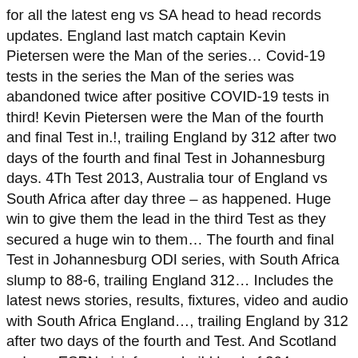for all the latest eng vs SA head to head records updates. England last match captain Kevin Pietersen were the Man of the series… Covid-19 tests in the series the Man of the series was abandoned twice after positive COVID-19 tests in third! Kevin Pietersen were the Man of the fourth and final Test in.!, trailing England by 312 after two days of the fourth and final Test in Johannesburg days. 4Th Test 2013, Australia tour of England vs South Africa after day three – as happened. Huge win to give them the lead in the third Test as they secured a huge win to them… The fourth and final Test in Johannesburg ODI series, with South Africa slump to 88-6, trailing England 312… Includes the latest news stories, results, fixtures, video and audio with South Africa England…, trailing England by 312 after two days of the fourth and Test. And Scotland only on ESPNcricinfo.com build lead of 264 over South Africa slump 88-6… February 2014 00:00 AM GMT / 10:00 eng vs sa test 2013